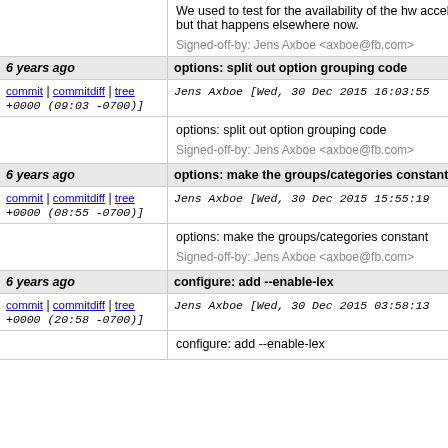We used to test for the availability of the hw accel but that happens elsewhere now.
Signed-off-by: Jens Axboe <axboe@fb.com>
6 years ago | options: split out option grouping code
commit | commitdiff | tree  Jens Axboe [Wed, 30 Dec 2015 16:03:55 +0000 (09:03 -0700)]
options: split out option grouping code
Signed-off-by: Jens Axboe <axboe@fb.com>
6 years ago | options: make the groups/categories constant
commit | commitdiff | tree  Jens Axboe [Wed, 30 Dec 2015 15:55:19 +0000 (08:55 -0700)]
options: make the groups/categories constant
Signed-off-by: Jens Axboe <axboe@fb.com>
6 years ago | configure: add --enable-lex
commit | commitdiff | tree  Jens Axboe [Wed, 30 Dec 2015 03:58:13 +0000 (20:58 -0700)]
configure: add --enable-lex